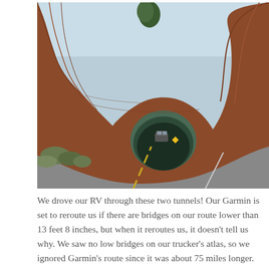[Figure (photo): A photograph of a road passing through a large natural rock arch/tunnel carved into red sandstone cliffs. A vehicle is seen driving through the tunnel opening. Desert shrubs and trees are visible, with a clear blue sky above.]
We drove our RV through these two tunnels! Our Garmin is set to reroute us if there are bridges on our route lower than 13 feet 8 inches, but when it reroutes us, it doesn't tell us why. We saw no low bridges on our trucker's atlas, so we ignored Garmin's route since it was about 75 miles longer. The second tunnel is 13 feet 6